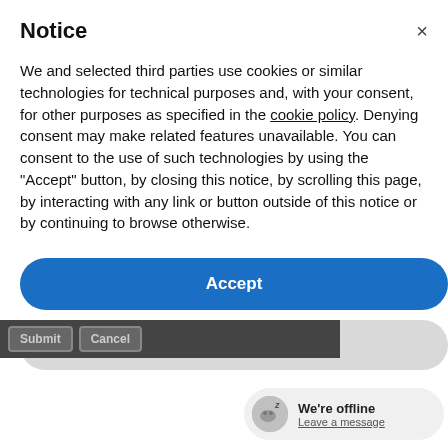Notice
We and selected third parties use cookies or similar technologies for technical purposes and, with your consent, for other purposes as specified in the cookie policy. Denying consent may make related features unavailable. You can consent to the use of such technologies by using the "Accept" button, by closing this notice, by scrolling this page, by interacting with any link or button outside of this notice or by continuing to browse otherwise.
Accept
Learn more and customize
Submit  Cancel
We're offline
Leave a message